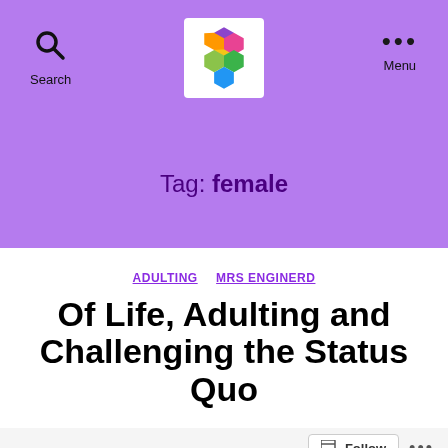Search | [Logo] | Menu
Tag: female
ADULTING  MRS ENGINERD
Of Life, Adulting and Challenging the Status Quo